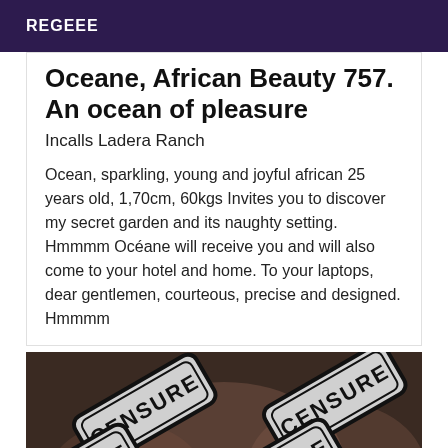REGEEE
Oceane, African Beauty 757. An ocean of pleasure
Incalls Ladera Ranch
Ocean, sparkling, young and joyful african 25 years old, 1,70cm, 60kgs Invites you to discover my secret garden and its naughty setting. Hmmmm Océane will receive you and will also come to your hotel and home. To your laptops, dear gentlemen, courteous, precise and designed. Hmmmm
[Figure (photo): Censored image with multiple CENSURE stamps overlaid on a dark background]